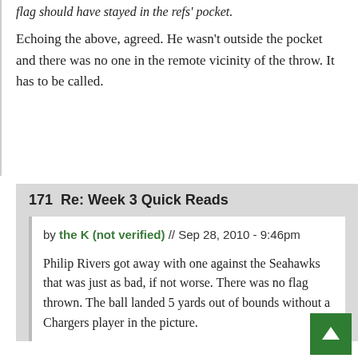flag should have stayed in the refs' pocket.
Echoing the above, agreed. He wasn't outside the pocket and there was no one in the remote vicinity of the throw. It has to be called.
171  Re: Week 3 Quick Reads
by the K (not verified) // Sep 28, 2010 - 9:46pm
Philip Rivers got away with one against the Seahawks that was just as bad, if not worse. There was no flag thrown. The ball landed 5 yards out of bounds without a Chargers player in the picture.